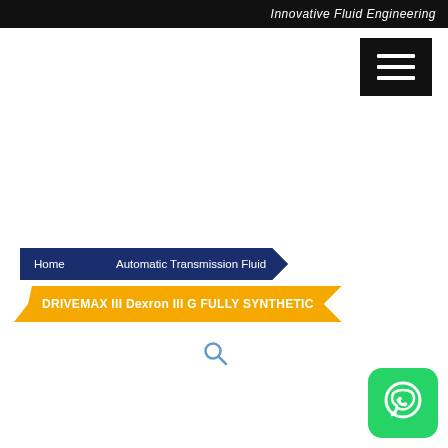Innovative Fluid Engineering
[Figure (other): Hamburger menu button (three horizontal white lines on black background)]
Home
Automatic Transmission Fluid
DRIVEMAX III Dexron III G FULLY SYNTHETIC
[Figure (other): Search magnifying glass icon]
[Figure (other): WhatsApp icon (green circle with white phone/chat bubble symbol)]